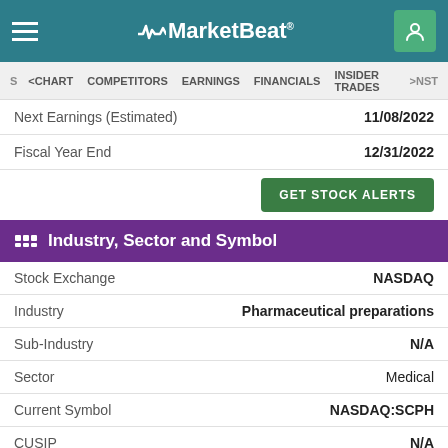MarketBeat
< CHART   COMPETITORS   EARNINGS   FINANCIALS   INSIDER TRADES   > NST
Next Earnings (Estimated)   11/08/2022
Fiscal Year End   12/31/2022
GET STOCK ALERTS
Industry, Sector and Symbol
|  |  |
| --- | --- |
| Stock Exchange | NASDAQ |
| Industry | Pharmaceutical preparations |
| Sub-Industry | N/A |
| Sector | Medical |
| Current Symbol | NASDAQ:SCPH |
| CUSIP | N/A |
| CIK | 1604950 |
| Web | www.scpharma.com |
| Phone | (617) 517-0730 |